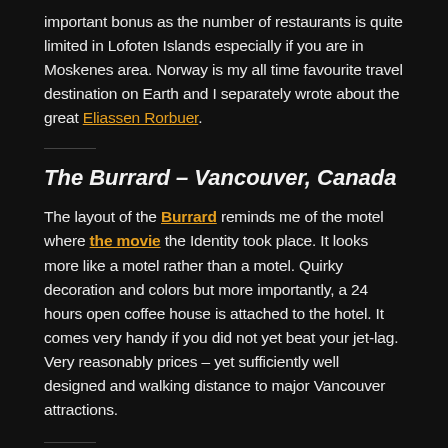important bonus as the number of restaurants is quite limited in Lofoten Islands especially if you are in Moskenes area. Norway is my all time favourite travel destination on Earth and I separately wrote about the great Eliassen Rorbuer.
The Burrard – Vancouver, Canada
The layout of the Burrard reminds me of the motel where the movie the Identity took place. It looks more like a motel rather than a motel. Quirky decoration and colors but more importantly, a 24 hours open coffee house is attached to the hotel. It comes very handy if you did not yet beat your jet-lag. Very reasonably prices – yet sufficiently well designed and walking distance to major Vancouver attractions.
Kochi no Ya Hostel – Aki, Japan